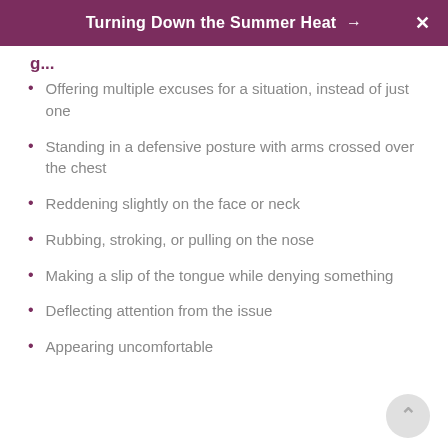Turning Down the Summer Heat →
Offering multiple excuses for a situation, instead of just one
Standing in a defensive posture with arms crossed over the chest
Reddening slightly on the face or neck
Rubbing, stroking, or pulling on the nose
Making a slip of the tongue while denying something
Deflecting attention from the issue
Appearing uncomfortable